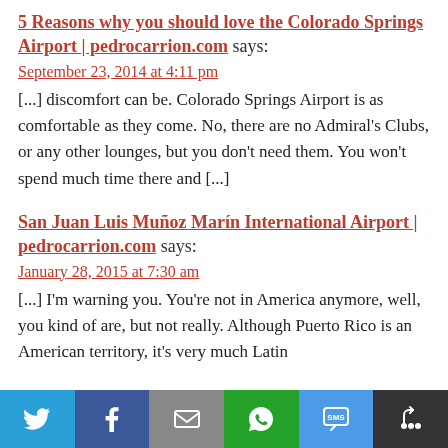5 Reasons why you should love the Colorado Springs Airport | pedrocarrion.com says:
September 23, 2014 at 4:11 pm
[...] discomfort can be. Colorado Springs Airport is as comfortable as they come. No, there are no Admiral's Clubs, or any other lounges, but you don't need them. You won't spend much time there and [...]
San Juan Luis Muñoz Marín International Airport | pedrocarrion.com says:
January 28, 2015 at 7:30 am
[...] I'm warning you. You're not in America anymore, well, you kind of are, but not really. Although Puerto Rico is an American territory, it's very much Latin
[Figure (infographic): Social share bar with Twitter, Facebook, Email, WhatsApp, SMS, and More buttons]